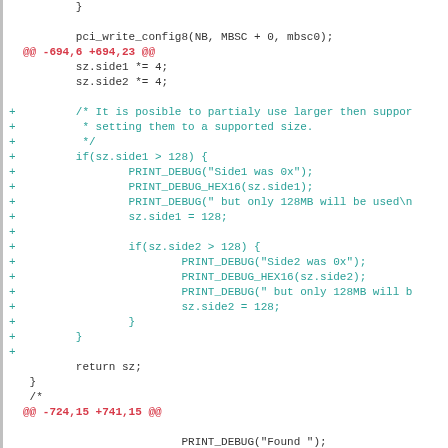diff/patch code viewer showing changes around lines -694,6 +694,23 and -724,15 +741,15
[Figure (screenshot): Source code diff view showing added lines of C code for memory size handling with PRINT_DEBUG statements and size clamping to 128MB]